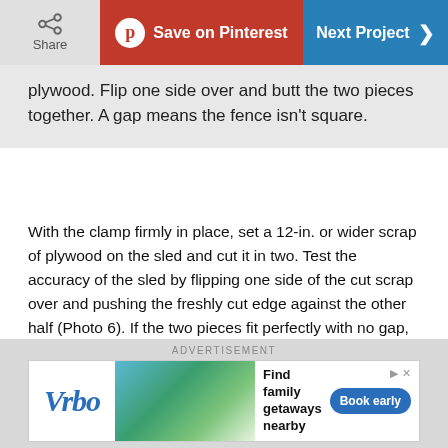Share | Save on Pinterest | Next Project
plywood. Flip one side over and butt the two pieces together. A gap means the fence isn't square.
With the clamp firmly in place, set a 12-in. or wider scrap of plywood on the sled and cut it in two. Test the accuracy of the sled by flipping one side of the cut scrap over and pushing the freshly cut edge against the other half (Photo 6). If the two pieces fit perfectly with no gap, the sled is cutting squarely and you can drive three additional screws into the fence to hold it in place. Otherwise, tap the clamped end of the fence with a hammer to nudge the fence a bit. Then make another test cut. Repeat this process until the cut is perfect. Then add the screws.
ADVERTISEMENT
[Figure (infographic): Vrbo advertisement banner with logo, vacation home photo, 'Find family getaways nearby' text, and 'Book early' button]